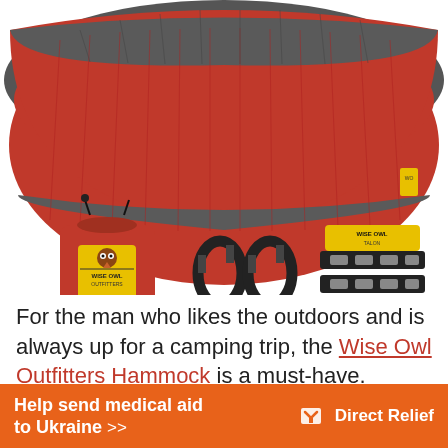[Figure (photo): Product photo of a red and charcoal grey Wise Owl Outfitters camping hammock shown folded/hanging, with accessories below: a red stuff sack with yellow Wise Owl logo patch, two black carabiners, and a black tree strap set with yellow Wise Owl Talon label]
For the man who likes the outdoors and is always up for a camping trip, the Wise Owl Outfitters Hammock is a must-have.
[Figure (infographic): Orange advertisement banner reading 'Help send medical aid to Ukraine >>' with Direct Relief logo on the right]